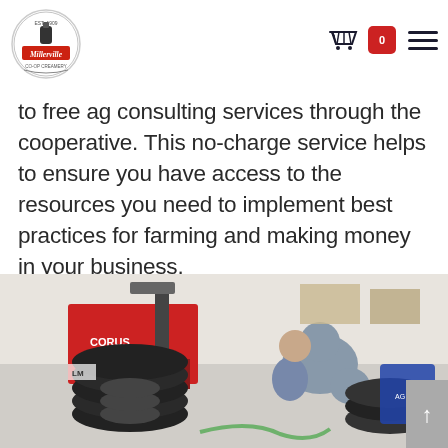Millerville Co-op Creamery header with logo, cart icon, and hamburger menu
to free ag consulting services through the cooperative. This no-charge service helps to ensure you have access to the resources you need to implement best practices for farming and making money in your business.
[Figure (photo): A mechanic or worker bending over stacked tires in a workshop or garage; a red CORUS machine/press is visible; various tires and boxes in the background]